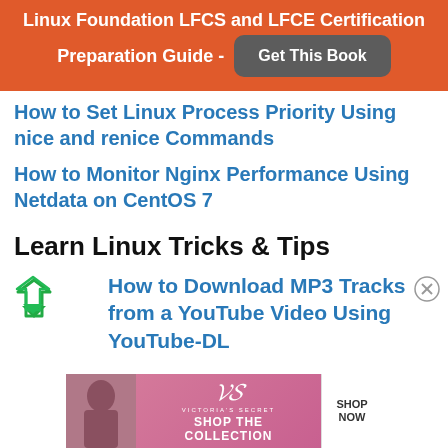[Figure (other): Orange banner with text 'Linux Foundation LFCS and LFCE Certification Preparation Guide -' and a dark grey 'Get This Book' button]
How to Set Linux Process Priority Using nice and renice Commands
How to Monitor Nginx Performance Using Netdata on CentOS 7
Learn Linux Tricks & Tips
How to Download MP3 Tracks from a YouTube Video Using YouTube-DL
[Figure (other): Victoria's Secret advertisement banner with pink background, model photo, VS logo, 'SHOP THE COLLECTION' text, and 'SHOP NOW' button]